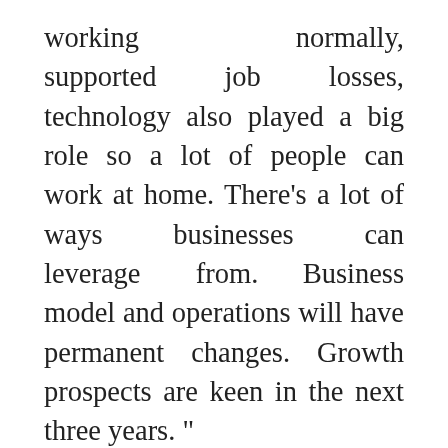working normally, supported job losses, technology also played a big role so a lot of people can work at home. There's a lot of ways businesses can leverage from. Business model and operations will have permanent changes. Growth prospects are keen in the next three years. "
Consumers want more sustainable, more climate friendly products. There's a huge demand for it. It's